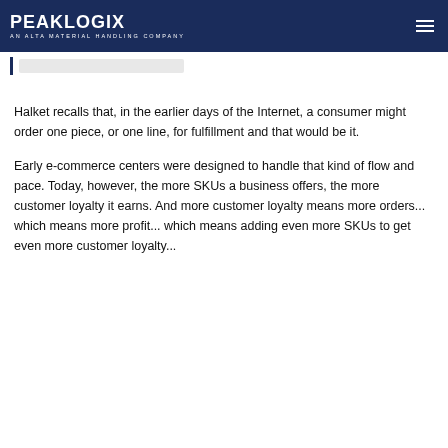PeakLogix — AN ALTA MATERIAL HANDLING COMPANY
Halket recalls that, in the earlier days of the Internet, a consumer might order one piece, or one line, for fulfillment and that would be it.
Early e-commerce centers were designed to handle that kind of flow and pace. Today, however, the more SKUs a business offers, the more customer loyalty it earns. And more customer loyalty means more orders... which means more profit... which means adding even more SKUs to get even more customer loyalty...